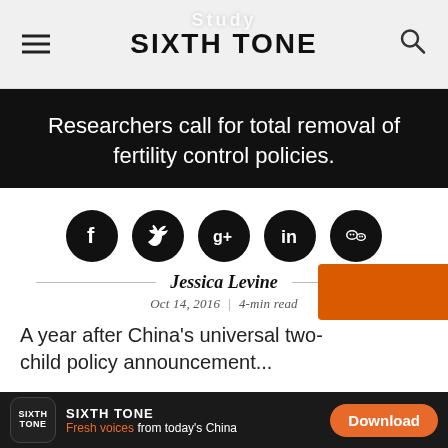SIXTH TONE
Researchers call for total removal of fertility control policies.
[Figure (other): Social media share icons: Facebook, Twitter, Google+, LinkedIn, WeChat]
Jessica Levine
Oct 14, 2016  |  4-min read
A year after China's universal two-child policy announcement...
SIXTH TONE — Fresh voices from today's China — Download